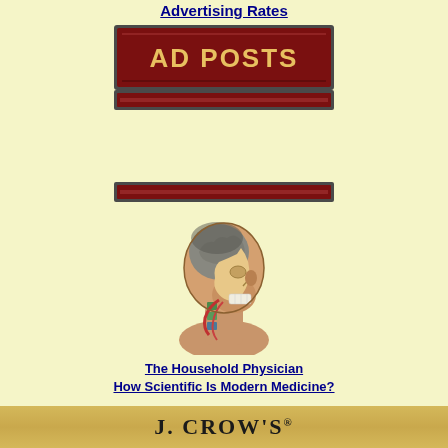Advertising Rates
[Figure (other): Dark red button banner labeled AD POSTS]
[Figure (other): Thin dark red horizontal divider bar]
[Figure (other): Thin dark red horizontal divider bar]
[Figure (illustration): Vintage anatomical illustration of a human head in cross-section showing brain, skull, spine and musculature in profile view]
The Household Physician
How Scientific Is Modern Medicine?
[Figure (logo): J. CROW'S gold banner at the bottom with registered trademark symbol]